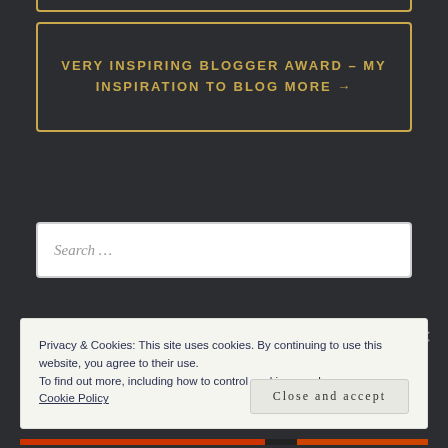VERY INSPIRING BLOGGER AWARD – MY INSPIRATION TO BLOG MORE →
Search …
Privacy & Cookies: This site uses cookies. By continuing to use this website, you agree to their use.
To find out more, including how to control cookies, see here:
Cookie Policy
Close and accept